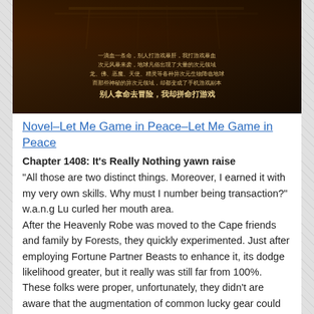[Figure (illustration): Book cover with dark background showing a game/study table scene. Chinese text overlay reads: 一滴血一条命，别人打游戏暴肝，我打游戏暴血 / 次元风暴来袭，地球凡俗出现了大量的次元领域 / 龙、佛、恶魔、天使、精灵等各种异次元生物降临地球 / 而那些神秘的异次元领域，却都变成了手机游戏副本 / 别人拿命去冒险，我却拼命打游戏]
Novel–Let Me Game in Peace–Let Me Game in Peace
Chapter 1408: It's Really Nothing yawn raise
"All those are two distinct things. Moreover, I earned it with my very own skills. Why must I number being transaction?" w.a.n.g Lu curled her mouth area.
After the Heavenly Robe was moved to the Cape friends and family by Forests, they quickly experimented. Just after employing Fortune Partner Beasts to enhance it, its dodge likelihood greater, but it really was still far from 100%.
These folks were proper, unfortunately, they didn't are aware that the augmentation of common lucky gear could only enhance the dodge possible opportunity to a really significant percent, nonetheless it wouldn't ever arrive at 100%. An